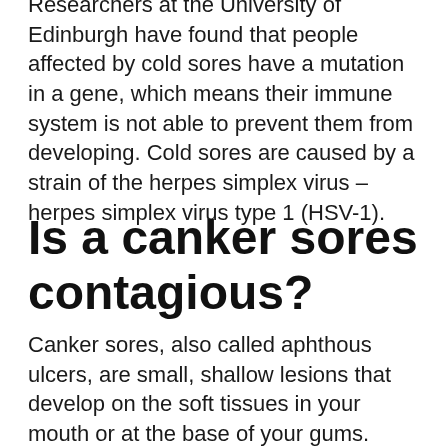Researchers at the University of Edinburgh have found that people affected by cold sores have a mutation in a gene, which means their immune system is not able to prevent them from developing. Cold sores are caused by a strain of the herpes simplex virus – herpes simplex virus type 1 (HSV-1).
Is a canker sores contagious?
Canker sores, also called aphthous ulcers, are small, shallow lesions that develop on the soft tissues in your mouth or at the base of your gums. Unlike cold sores, canker sores don't occur on the surface of your lips and they aren't contagious. They can be painful, however, and can make eating and talking